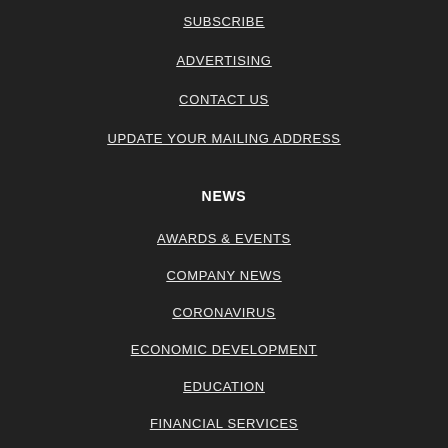SUBSCRIBE
ADVERTISING
CONTACT US
UPDATE YOUR MAILING ADDRESS
NEWS
AWARDS & EVENTS
COMPANY NEWS
CORONAVIRUS
ECONOMIC DEVELOPMENT
EDUCATION
FINANCIAL SERVICES
HEALTH CARE AND WELLNESS